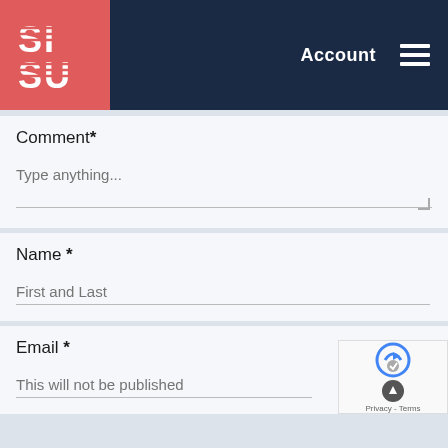[Figure (logo): SISU logo: white striped letters on coral/red background square, with 'Account' text and hamburger menu icon on dark navy blue header bar]
Comment*
Type anything...
Name *
First and Last
Email *
This will not be published